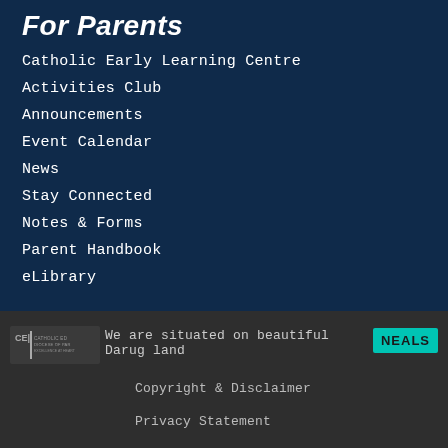For Parents
Catholic Early Learning Centre
Activities Club
Announcements
Event Calendar
News
Stay Connected
Notes & Forms
Parent Handbook
eLibrary
[Figure (logo): Catholic Education logo]
We are situated on beautiful Darug land
[Figure (logo): NEALS logo - teal/cyan background with white text]
Copyright & Disclaimer
Privacy Statement
Catholic Education Parramatta
ClassM8